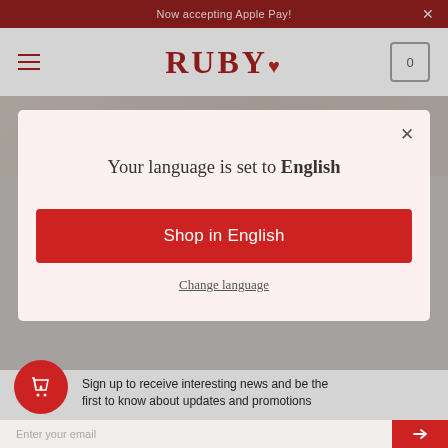Now accepting Apple Pay!
[Figure (logo): RUBY logo with heart symbol in dark red]
[Figure (photo): Hero image strip showing hands/background scene]
Your language is set to English
Shop in English
Change language
Sign up to receive interesting news and be the first to know about updates and promotions
Enter your email